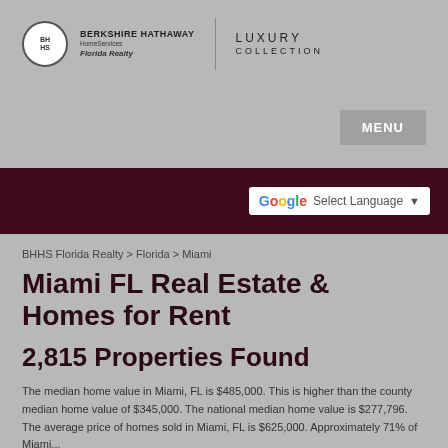[Figure (logo): Berkshire Hathaway HomeServices Florida Realty logo with circular BH/HS emblem and Luxury Collection text]
MENU
Select Language
BHHS Florida Realty > Florida > Miami
Miami FL Real Estate & Homes for Rent
2,815 Properties Found
The median home value in Miami, FL is $485,000. This is higher than the county median home value of $345,000. The national median home value is $277,796. The average price of homes sold in Miami, FL is $625,000. Approximately 71% of Miami...